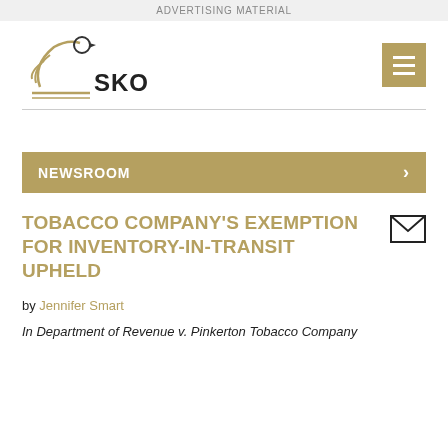ADVERTISING MATERIAL
[Figure (logo): SKO law firm logo with stylized bird/wing graphic and text 'SKO']
NEWSROOM
TOBACCO COMPANY'S EXEMPTION FOR INVENTORY-IN-TRANSIT UPHELD
by Jennifer Smart
In Department of Revenue v. Pinkerton Tobacco Company